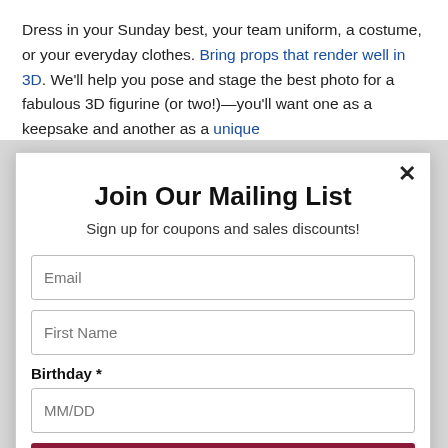Dress in your Sunday best, your team uniform, a costume, or your everyday clothes. Bring props that render well in 3D. We'll help you pose and stage the best photo for a fabulous 3D figurine (or two!)—you'll want one as a keepsake and another as a unique
Join Our Mailing List
Sign up for coupons and sales discounts!
Email
First Name
Birthday *
MM/DD